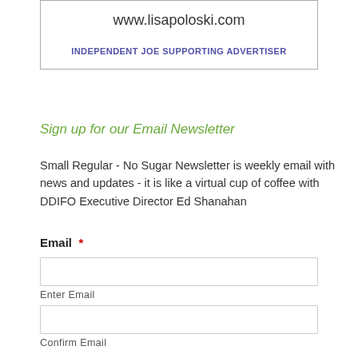[Figure (other): Advertisement box with URL www.lisapoloski.com and label INDEPENDENT JOE SUPPORTING ADVERTISER]
Sign up for our Email Newsletter
Small Regular - No Sugar Newsletter is weekly email with news and updates - it is like a virtual cup of coffee with DDIFO Executive Director Ed Shanahan
Email *
Enter Email
Confirm Email
Are you a Dunkin Donuts Franchise Owner? *